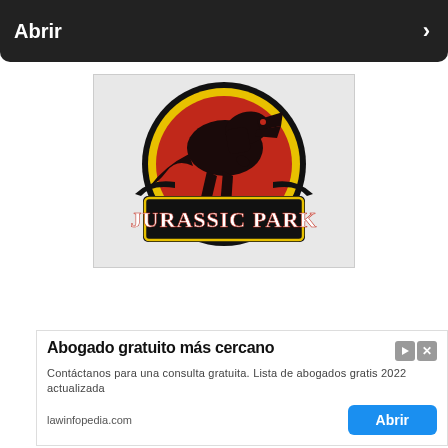[Figure (screenshot): Dark banner at top with 'Abrir' text in white and a right arrow, partially obscured text 'BOOK NOW' behind it]
[Figure (logo): Jurassic Park embroidered patch logo: red circle with black T-Rex silhouette, yellow border, black banner reading 'JURASSIC PARK' in bold white letters]
[Figure (screenshot): Purple 'BUY NOW ON AMAZON' banner with Amazon logo 'a' on the right]
[Figure (screenshot): Advertisement: 'Abogado gratuito más cercano' - Contáctanos para una consulta gratuita. Lista de abogados gratis 2022 actualizada. lawinfopedia.com with 'Abrir' blue button]